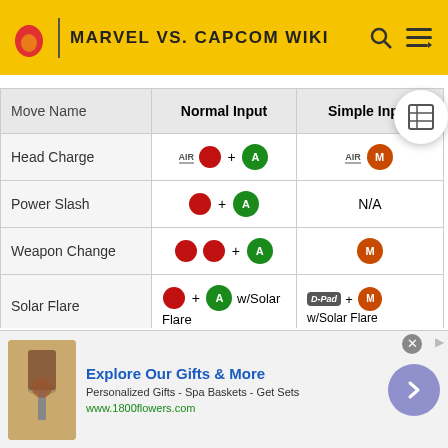MARVEL VS. CAPCOM WIKI
| Move Name | Normal Input | Simple Input |
| --- | --- | --- |
| Head Charge | AIR [red-btn] + [green-A] | AIR [orange-M] |
| Power Slash | [red-btn] + [green-A] | N/A |
| Weapon Change | [red-btn][red-btn] + [green-A] | [orange-M] |
| Solar Flare | [red-btn] + [green-A] w/Solar Flare | D-Pad + [orange-M] w/Solar Flare |
| Thunder Edge | [red-btn] + [green-A] w/Thunder Edge | D-Pad + [orange-M] w/Thunder Edge |
Explore Our Gifts & More — Personalized Gifts - Spa Baskets - Get Sets — www.1800flowers.com